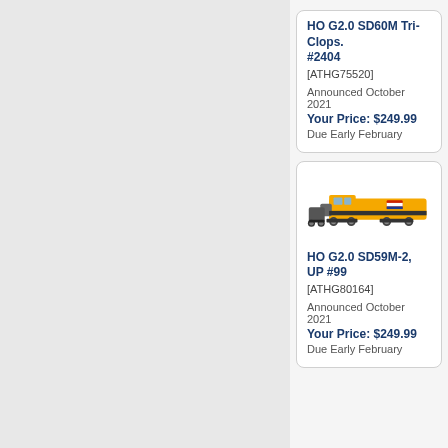HO G2.0 SD60M Tri-Clops. #2404
[ATHG75520]
Announced October 2021
Your Price: $249.99
Due Early February
[Figure (photo): HO scale model locomotive - yellow Union Pacific SD59M-2 diesel locomotive]
HO G2.0 SD59M-2, UP #99
[ATHG80164]
Announced October 2021
Your Price: $249.99
Due Early February